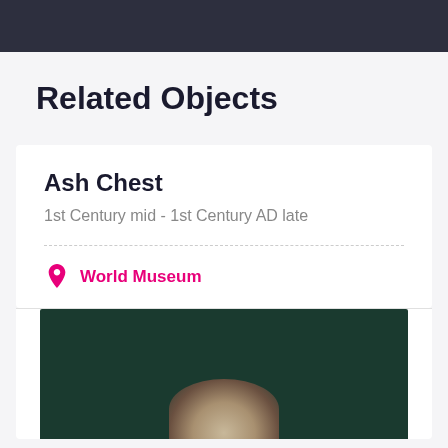Related Objects
Ash Chest
1st Century mid - 1st Century AD late
World Museum
[Figure (photo): Photograph of an Ash Chest artifact displayed against a dark green background, showing a pale stone or marble object]